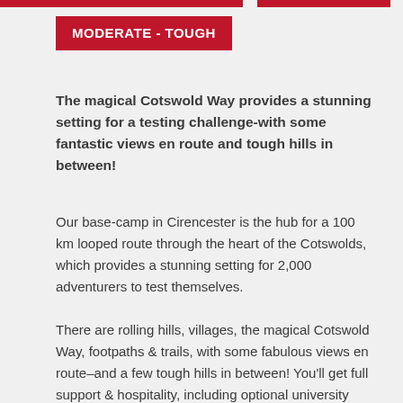[Figure (other): Two red horizontal bars at top of page, separated by a small gap]
MODERATE - TOUGH
The magical Cotswold Way provides a stunning setting for a testing challenge-with some fantastic views en route and tough hills in between!
Our base-camp in Cirencester is the hub for a 100 km looped route through the heart of the Cotswolds, which provides a stunning setting for 2,000 adventurers to test themselves.
There are rolling hills, villages, the magical Cotswold Way, footpaths & trails, with some fabulous views en route–and a few tough hills in between! You'll get full support & hospitality, including optional university style